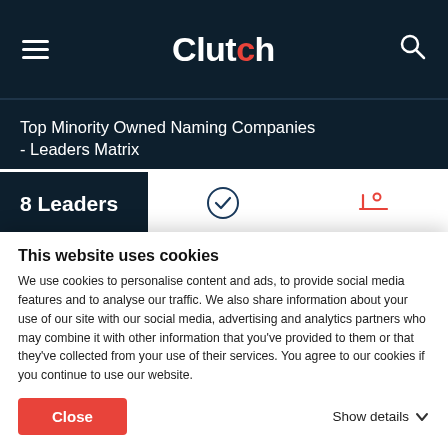Clutch
Top Minority Owned Naming Companies - Leaders Matrix
8 Leaders
Clutch Leaders Matrix
Rollover to see company insights or click a company below
This website uses cookies
We use cookies to personalise content and ads, to provide social media features and to analyse our traffic. We also share information about your use of our site with our social media, advertising and analytics partners who may combine it with other information that you've provided to them or that they've collected from your use of their services. You agree to our cookies if you continue to use our website.
Close
Show details